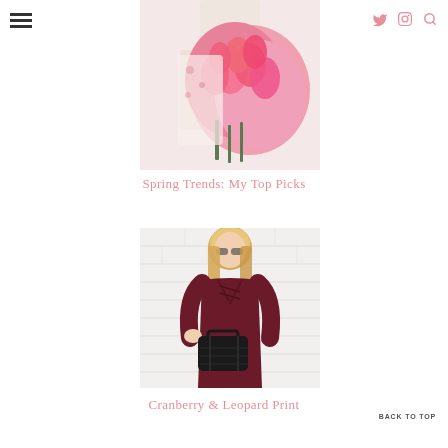≡   [Twitter] [Pinterest] [Instagram] [Search]
[Figure (photo): Woman in floral dress holding a large bouquet of pink tulips]
Spring Trends: My Top Picks
[Figure (photo): Blonde woman in dark maroon/cranberry v-neck top with lace-up detail, holding a black handbag, standing against a white brick wall]
Cranberry & Leopard Print
BACK TO TOP